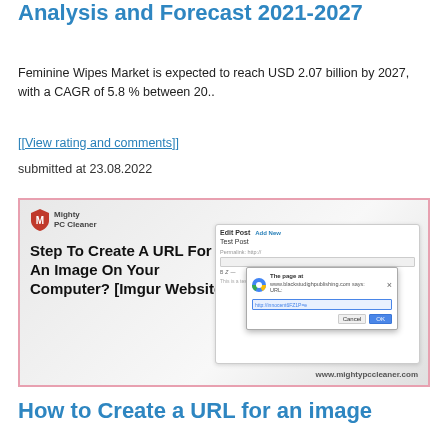Analysis and Forecast 2021-2027
Feminine Wipes Market is expected to reach USD 2.07 billion by 2027, with a CAGR of 5.8 % between 20..
[[View rating and comments]]
submitted at 23.08.2022
[Figure (screenshot): Screenshot of Mighty PC Cleaner website showing a tutorial titled 'Step To Create A URL For An Image On Your Computer? [Imgur Website]' with a Chrome browser dialog for inserting a URL, displayed against a light gray background. Website URL watermark: www.mightypccleaner.com]
How to Create a URL for an image